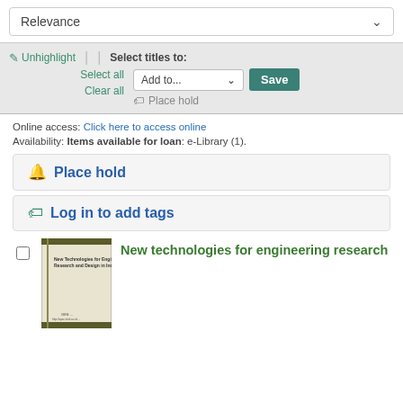Relevance
✏ Unhighlight | Select titles to:
Select all
Add to...  Save
Clear all
🔖 Place hold
Online access: Click here to access online
Availability: Items available for loan: e-Library (1).
🔖 Place hold
🏷 Log in to add tags
[Figure (photo): Book cover for 'New Technologies for Engineering Research and Design in Industry']
New technologies for engineering research